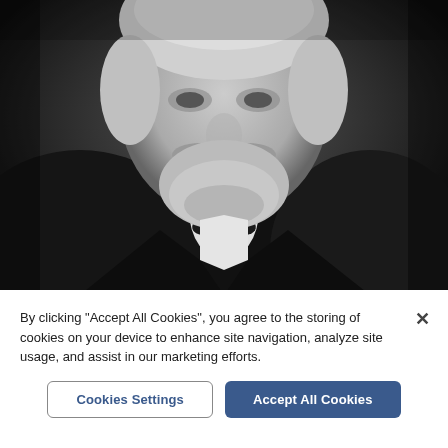[Figure (photo): Black and white historical portrait photograph of a man with a mustache and beard, wearing a dark suit with a white collar and bow tie. The photo appears to be from the late 19th or early 20th century.]
By clicking "Accept All Cookies", you agree to the storing of cookies on your device to enhance site navigation, analyze site usage, and assist in our marketing efforts.